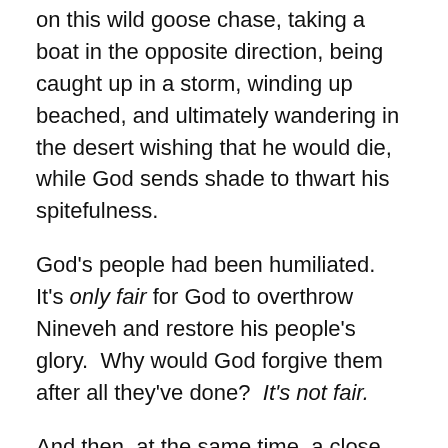on this wild goose chase, taking a boat in the opposite direction, being caught up in a storm, winding up beached, and ultimately wandering in the desert wishing that he would die, while God sends shade to thwart his spitefulness.
God's people had been humiliated.  It's only fair for God to overthrow Nineveh and restore his people's glory.  Why would God forgive them after all they've done?  It's not fair.
And then, at the same time, a close reading of Matthew 20 rubs every one of us the wrong way.  It's harvest time, and the vineyard owner goes out at dawn and hires labourers to work in the field; they agree to a fair wage and get to work.